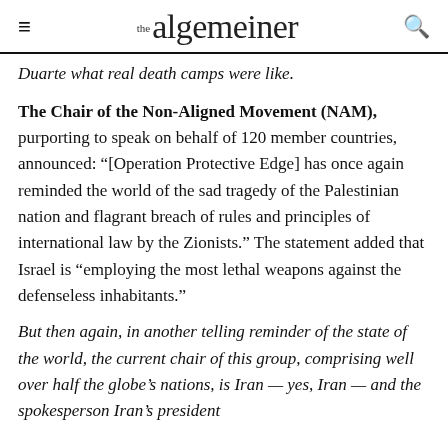the algemeiner
Duarte what real death camps were like.
The Chair of the Non-Aligned Movement (NAM), purporting to speak on behalf of 120 member countries, announced: “[Operation Protective Edge] has once again reminded the world of the sad tragedy of the Palestinian nation and flagrant breach of rules and principles of international law by the Zionists.” The statement added that Israel is “employing the most lethal weapons against the defenseless inhabitants.”
But then again, in another telling reminder of the state of the world, the current chair of this group, comprising well over half the globe’s nations, is Iran — yes, Iran — and the spokesperson Iran’s president